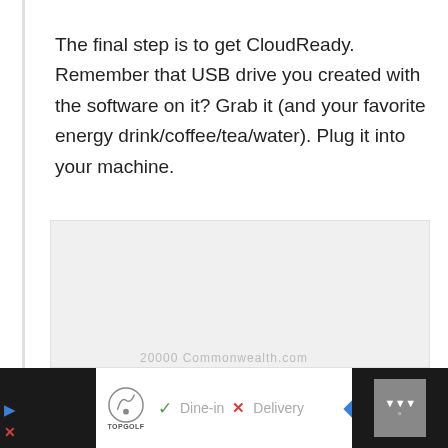The final step is to get CloudReady. Remember that USB drive you created with the software on it? Grab it (and your favorite energy drink/coffee/tea/water). Plug it into your machine.
[Figure (other): Gray placeholder area (image not loaded)]
Ad banner: Topgolf logo — Dine-in × Delivery | Navigation arrow | Scroll button | URL bar text partially visible